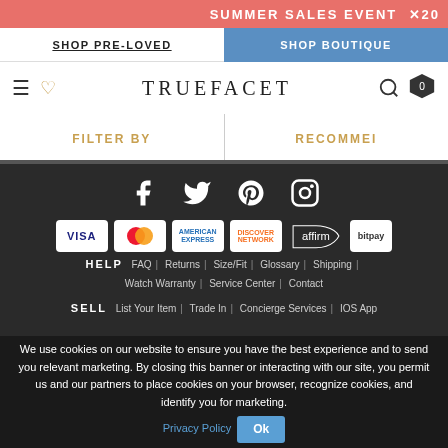SUMMER SALES EVENT X20
SHOP PRE-LOVED | SHOP BOUTIQUE
TRUEFACET
FILTER BY | RECOMMENDED
[Figure (screenshot): Social media icons: Facebook, Twitter, Pinterest, Instagram]
[Figure (screenshot): Payment method logos: VISA, Mastercard, American Express, Discover, Affirm, Bitpay]
HELP  FAQ | Returns | Size/Fit | Glossary | Shipping | Watch Warranty | Service Center | Contact
SELL  List Your Item | Trade In | Concierge Services | IOS App
We use cookies on our website to ensure you have the best experience and to send you relevant marketing. By closing this banner or interacting with our site, you permit us and our partners to place cookies on your browser, recognize cookies, and identify you for marketing. Privacy Policy  Ok